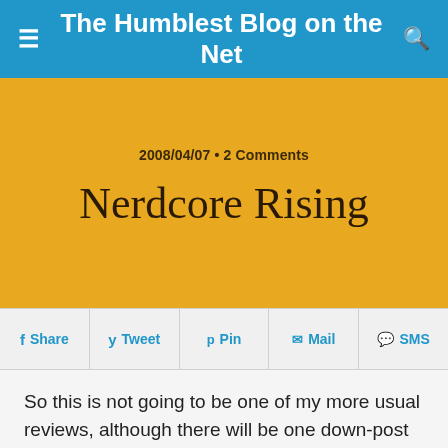The Humblest Blog on the Net
2008/04/07 • 2 Comments
Nerdcore Rising
Share  Tweet  Pin  Mail  SMS
So this is not going to be one of my more usual reviews, although there will be one down-post aways. Be patient. See, late Tuesday night I got an e-mail from the Nerdcore Rising mailing list, telling me that the film was going to be shown at the AFI Film Festival here in Dallas and that mailing list members could possibly be gotten into the afterparty by RSVPing to